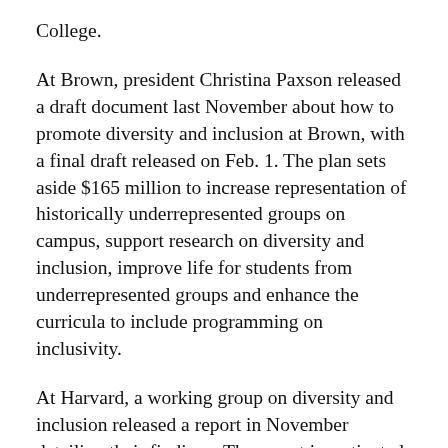College.
At Brown, president Christina Paxson released a draft document last November about how to promote diversity and inclusion at Brown, with a final draft released on Feb. 1. The plan sets aside $165 million to increase representation of historically underrepresented groups on campus, support research on diversity and inclusion, improve life for students from underrepresented groups and enhance the curricula to include programming on inclusivity.
At Harvard, a working group on diversity and inclusion released a report in November detailing their findings. The report investigated diversity at other Ivy League schools in comparison to Harvard and provided recommendations on how